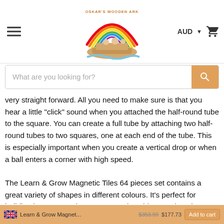[Figure (logo): Oskar's Wooden Ark logo with rainbow and Noah's ark illustration]
AUD
[Figure (illustration): Shopping cart icon]
What are you looking for?
very straight forward. All you need to make sure is that you hear a little "click" sound when you attached the half-round tube to the square. You can create a full tube by attaching two half-round tubes to two squares, one at each end of the tube. This is especially important when you create a vertical drop or when a ball enters a corner with high speed.

The Learn & Grow Magnetic Tiles 64 pieces set contains a great variety of shapes in different colours. It's perfect for building houses, castles, towers, rocket ships, road tracks, animals and all the other creative ideas your children come up with.

Magnetic tiles have many developmental and educational benefits. They foster fine motor skills, independent play, problem solving, language